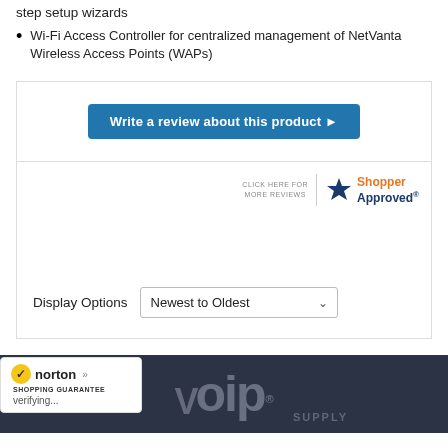step setup wizards
Wi-Fi Access Controller for centralized management of NetVanta Wireless Access Points (WAPs)
[Figure (screenshot): Write a review about this product button in a blue rounded rectangle with arrow]
[Figure (screenshot): Shopper Approved logo with star and text, with CLICK HERE FOR MORE REVIEWS label]
[Figure (screenshot): Display Options dropdown showing Newest to Oldest]
[Figure (logo): Footer bar with VoIP Supply logo text in dark navy background]
[Figure (logo): Norton Shopping Guarantee badge with yellow checkmark, verifying text]